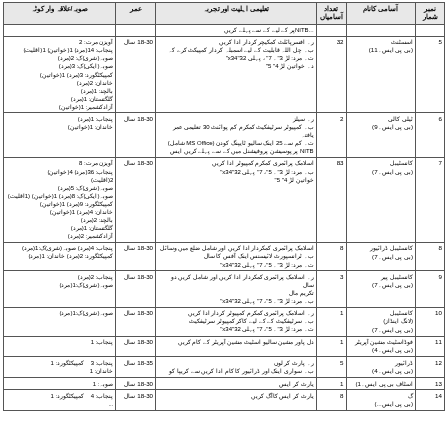| نمبرشمار | آسامی کانام | تعداد آسامیاں | تعلیمی اہلیت اور تجربہ | عمر | صوبہ/علاقہ وار کوٹہ |
| --- | --- | --- | --- | --- | --- |
| 5 | اسسٹنٹ
(بی پی ایس۔11) | 32 | د۔ افسرپائلٹ کمکیچر کردار ادا کریں... | 18-30 سال | پنجاب: 2(مرد) 1(خواتین) 1(اقلیت)... |
| 6 | ٹیلی کالی
(بی پی ایس۔9) | 2 | ر۔ سیلز... | 18-30 سال | پنجاب: 1(مرد)
خاندان: 1(خواتین) |
| 7 | کانسٹیبل
(بی پی ایس۔7) | 83 | اسلامک پرائمری... | 18-30 سال | پنجاب 8(مرد) 36(مرد) 4(خواتین) 2(اقلیت)... |
| 8 | کانسٹیبل ڈرائیور
(بی پی ایس۔7) | 8 | اسلامک پرائمری کمکرم کمپیوٹر ادا کریں... | 18-30 سال | پنجاب: 4(مرد) صوبہ(شری)ک:1(مرد)
کمپیکٹگورد: 2(مرد) خاندان: 1(مرد) |
| 9 | کانسٹیبل پیر
(بی پی ایس۔7) | 3 | ر۔ اسلامک پرائمری کمکردار ادا کریں... | 18-30 سال | پنجاب: 2(مرد)
صوبہ(شری)ک:1(مرد) |
| 10 | کانسٹیبل
(لانگ اینڈاز)
(بی پی ایس۔7) | 1 | ر۔ اسلامک پرائمری کمکرم کمپیوٹر ادا کریں... | 18-30 سال | صوبہ(شری)ک:1(مرد) |
| 11 | فوڈاسٹیٹ مشین آپریٹر
(بی پی ایس۔4) | 1 | دل پاور مشین سالیو اسٹیٹ مشین آپریٹر کے کام | 18-30 سال | پنجاب: 1 |
| 12 | ڈرائیور
(بی پی ایس۔4) | 5 | ر۔ پارٹ کر لوں
ب۔ سواری اینک اور ڈرائیور کا کام ادا کریں... | 18-35 سال | پنجاب: 3  کمپیکٹگورد: 1
خاندان: 1 |
| 13 | اسٹاف بی پی ایس۔1) | 1 | یارٹ کر ایس | 18-30 سال | صوبہ: 1 |
| 14 | گ
(بی پی ایس...) | 8 | یارٹ کر ایس کاآگ کریں | 18-30 سال | پنجاب: 4  کمپیکٹگورد: 1
... |